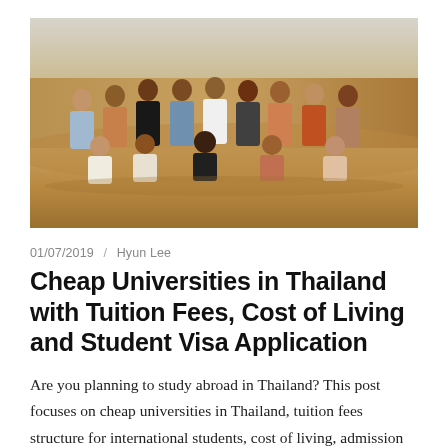[Figure (photo): Group photo of approximately 11 people posing together on a sandy desert landscape with a hazy sky in the background.]
01/07/2019 / Hyun Lee
Cheap Universities in Thailand with Tuition Fees, Cost of Living and Student Visa Application
Are you planning to study abroad in Thailand? This post focuses on cheap universities in Thailand, tuition fees structure for international students, cost of living, admission requirements, study visa and admission